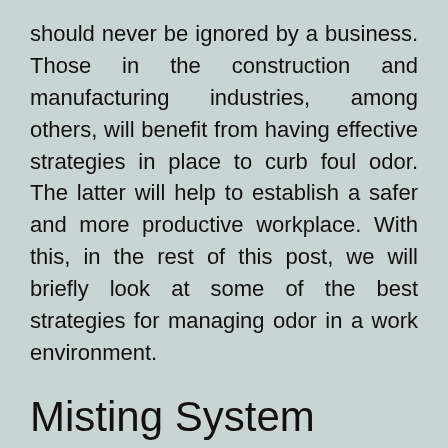should never be ignored by a business. Those in the construction and manufacturing industries, among others, will benefit from having effective strategies in place to curb foul odor. The latter will help to establish a safer and more productive workplace. With this, in the rest of this post, we will briefly look at some of the best strategies for managing odor in a work environment.
Misting System
One of the perfect examples of this is the BossTek's OdorBoss. It is a specialized